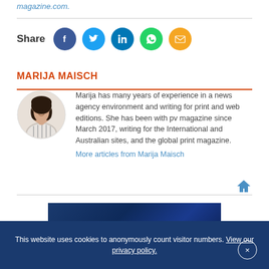magazine.com.
[Figure (infographic): Share icons row: Facebook (blue circle), Twitter (light blue circle), LinkedIn (dark blue circle), WhatsApp (green circle), Email (orange circle)]
MARIJA MAISCH
[Figure (photo): Circular portrait photo of Marija Maisch, a woman with dark hair, smiling, wearing a striped top]
Marija has many years of experience in a news agency environment and writing for print and web editions. She has been with pv magazine since March 2017, writing for the International and Australian sites, and the global print magazine.
More articles from Marija Maisch
[Figure (photo): Dark blue promotional image with an orange diagonal stripe, partially visible at the bottom of the page]
This website uses cookies to anonymously count visitor numbers. View our privacy policy.